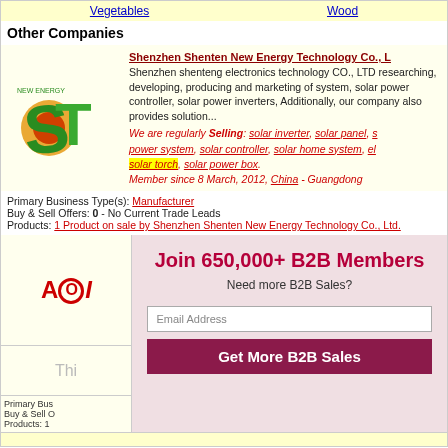Vegetables   Wood
Other Companies
Shenzhen Shenten New Energy Technology Co., Ltd. - Shenzhen shenteng electronics technology CO., LTD researching, developing, producing and marketing of system, solar power controller, solar power inverters, Additionally, our company also provides solution... We are regularly Selling: solar inverter, solar panel, s power system, solar controller, solar home system, el solar torch, solar power box. Member since 8 March, 2012, China - Guangdong
Primary Business Type(s): Manufacturer
Buy & Sell Offers: 0 - No Current Trade Leads
Products: 1 Product on sale by Shenzhen Shenten New Energy Technology Co., Ltd.
[Figure (logo): AOI company logo with red stylized letters]
Join 650,000+ B2B Members
Need more B2B Sales?
Email Address
Get More B2B Sales
Primary Bus...
Buy & Sell O...
Products: 1